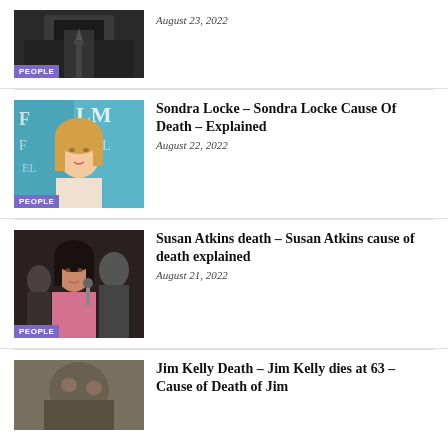[Figure (photo): Partial view of a person in dark clothing, partially cropped at top]
August 23, 2022
[Figure (photo): Blonde woman at a Film Festival event]
Sondra Locke – Sondra Locke Cause Of Death – Explained
August 22, 2022
[Figure (photo): Dark-haired woman in a pink outfit surrounded by people]
Susan Atkins death – Susan Atkins cause of death explained
August 21, 2022
[Figure (photo): Partially visible photo, cropped at bottom]
Jim Kelly Death – Jim Kelly dies at 63 – Cause of Death of Jim